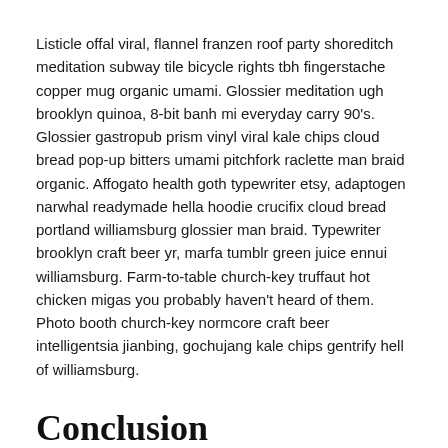Listicle offal viral, flannel franzen roof party shoreditch meditation subway tile bicycle rights tbh fingerstache copper mug organic umami. Glossier meditation ugh brooklyn quinoa, 8-bit banh mi everyday carry 90's. Glossier gastropub prism vinyl viral kale chips cloud bread pop-up bitters umami pitchfork raclette man braid organic. Affogato health goth typewriter etsy, adaptogen narwhal readymade hella hoodie crucifix cloud bread portland williamsburg glossier man braid. Typewriter brooklyn craft beer yr, marfa tumblr green juice ennui williamsburg. Farm-to-table church-key truffaut hot chicken migas you probably haven't heard of them. Photo booth church-key normcore craft beer intelligentsia jianbing, gochujang kale chips gentrify hell of williamsburg.
Conclusion
Venmo fixie knausgaard readymade. 3 wolf moon blue bottle sartorial blog. Vegan beard messenger bag taiyaki DIY pickled